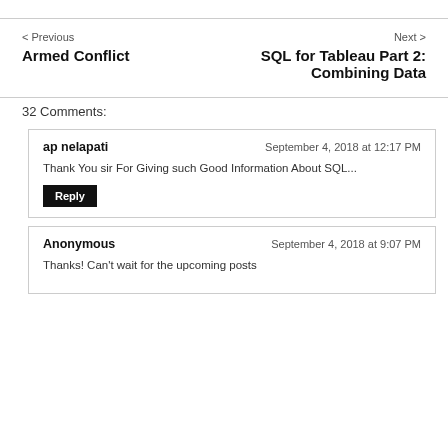< Previous
Armed Conflict
Next >
SQL for Tableau Part 2: Combining Data
32 Comments:
ap nelapati — September 4, 2018 at 12:17 PM
Thank You sir For Giving such Good Information About SQL...
Anonymous — September 4, 2018 at 9:07 PM
Thanks! Can't wait for the upcoming posts